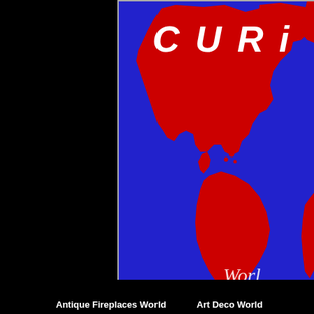[Figure (map): World map graphic with red continents on blue background. Text 'CURIO' visible at top in white italic bold letters, and 'World' text in lower right corner. Shows Americas prominently and partial view of other continents.]
Antique Fireplaces World
Art Deco World